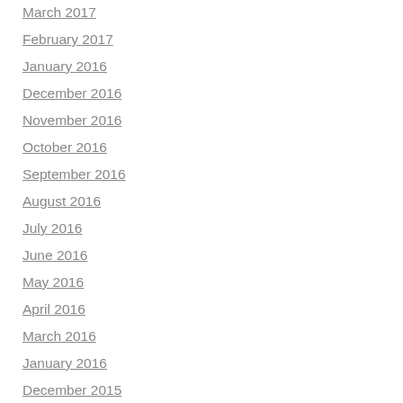March 2017
February 2017
January 2016
December 2016
November 2016
October 2016
September 2016
August 2016
July 2016
June 2016
May 2016
April 2016
March 2016
January 2016
December 2015
November 2015
October 2015
September 2015
July 2015